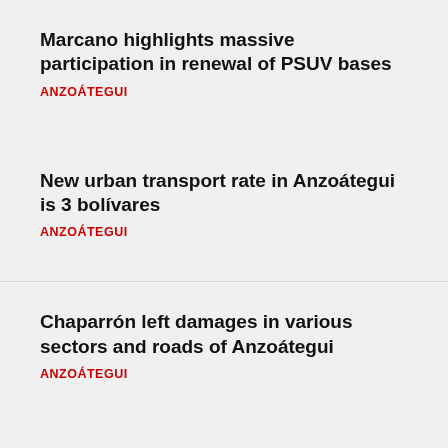Marcano highlights massive participation in renewal of PSUV bases
ANZOÁTEGUI
New urban transport rate in Anzoátegui is 3 bolívares
ANZOÁTEGUI
Chaparrón left damages in various sectors and roads of Anzoátegui
ANZOÁTEGUI